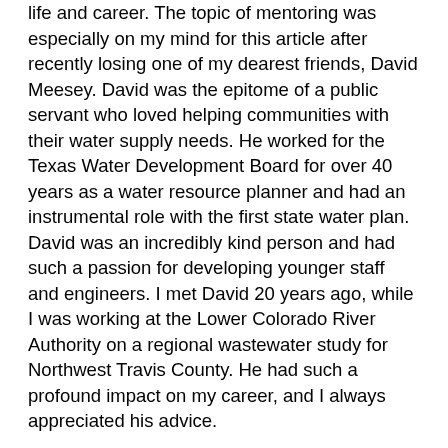life and career. The topic of mentoring was especially on my mind for this article after recently losing one of my dearest friends, David Meesey. David was the epitome of a public servant who loved helping communities with their water supply needs. He worked for the Texas Water Development Board for over 40 years as a water resource planner and had an instrumental role with the first state water plan. David was an incredibly kind person and had such a passion for developing younger staff and engineers. I met David 20 years ago, while I was working at the Lower Colorado River Authority on a regional wastewater study for Northwest Travis County. He had such a profound impact on my career, and I always appreciated his advice.
As engineers, we gain our technical training during our college years; however, implementing projects and effective public communications is learned on the job. It's important for the more experienced engineers to take a younger staff member/engineer under their wing to